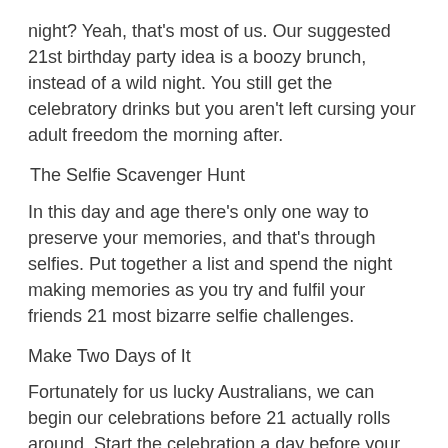night? Yeah, that's most of us. Our suggested 21st birthday party idea is a boozy brunch, instead of a wild night. You still get the celebratory drinks but you aren't left cursing your adult freedom the morning after.
The Selfie Scavenger Hunt
In this day and age there's only one way to preserve your memories, and that's through selfies. Put together a list and spend the night making memories as you try and fulfil your friends 21 most bizarre selfie challenges.
Make Two Days of It
Fortunately for us lucky Australians, we can begin our celebrations before 21 actually rolls around. Start the celebration a day before your actual